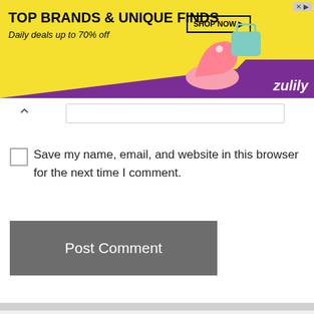[Figure (other): Advertisement banner for Zulily: 'TOP BRANDS & UNIQUE FINDS, Daily deals up to 70% off' with SHOP NOW button, shoes and handbag imagery, purple Zulily branding]
Save my name, email, and website in this browser for the next time I comment.
Post Comment
Career Options After 12th Science
Career Options After 12th Commerce
Career Option After 12th Arts